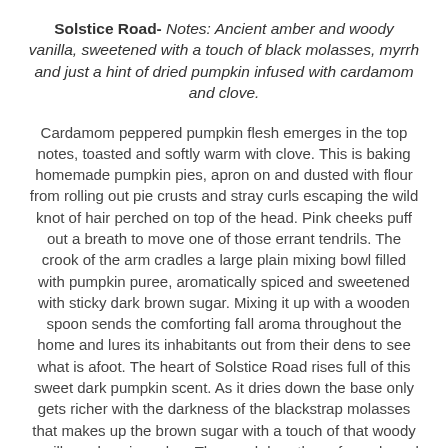Solstice Road- Notes: Ancient amber and woody vanilla, sweetened with a touch of black molasses, myrrh and just a hint of dried pumpkin infused with cardamom and clove.
Cardamom peppered pumpkin flesh emerges in the top notes, toasted and softly warm with clove. This is baking homemade pumpkin pies, apron on and dusted with flour from rolling out pie crusts and stray curls escaping the wild knot of hair perched on top of the head. Pink cheeks puff out a breath to move one of those errant tendrils. The crook of the arm cradles a large plain mixing bowl filled with pumpkin puree, aromatically spiced and sweetened with sticky dark brown sugar. Mixing it up with a wooden spoon sends the comforting fall aroma throughout the home and lures its inhabitants out from their dens to see what is afoot. The heart of Solstice Road rises full of this sweet dark pumpkin scent. As it dries down the base only gets richer with the darkness of the blackstrap molasses that makes up the brown sugar with a touch of that woody vanilla and sepia amber. The myrrh breathes of woods and mystery around the edges. This is an autumnal beauty, a pumpkin woods gourmand. Not overly spicy or fiery at all, more on the snug